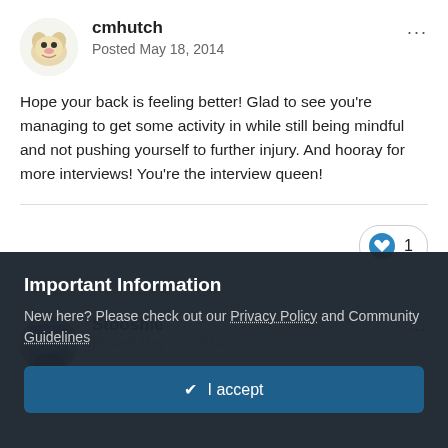[Figure (photo): Avatar image for cmhutch, showing a cartoon/illustrated dog]
cmhutch
Posted May 18, 2014
Hope your back is feeling better! Glad to see you're managing to get some activity in while still being mindful and not pushing yourself to further injury. And hooray for more interviews! You're the interview queen!
[Figure (other): Like button with heart icon showing count of 1]
[Figure (photo): Avatar image for Stooshie, showing a person in dark clothing]
Stooshie
Posted May 20, 2014
Important Information
New here? Please check out our Privacy Policy and Community Guidelines
✔ I accept